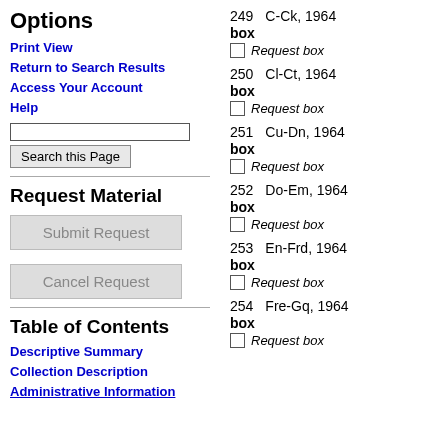Options
Print View
Return to Search Results
Access Your Account
Help
Request Material
Submit Request
Cancel Request
Table of Contents
Descriptive Summary
Collection Description
Administrative Information
249   C-Ck, 1964
box
Request box
250   Cl-Ct, 1964
box
Request box
251   Cu-Dn, 1964
box
Request box
252   Do-Em, 1964
box
Request box
253   En-Frd, 1964
box
Request box
254   Fre-Gq, 1964
box
Request box